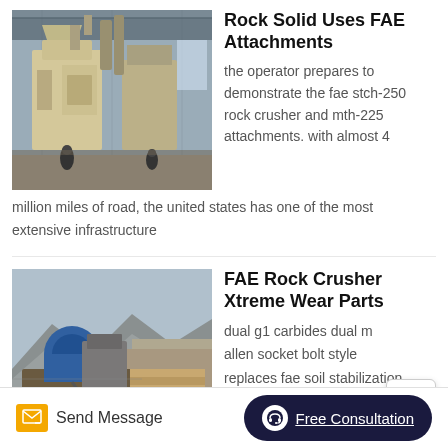[Figure (photo): Industrial milling/crushing machinery inside a large warehouse facility, with workers visible near the equipment]
Rock Solid Uses FAE Attachments
the operator prepares to demonstrate the fae stch-250 rock crusher and mth-225 attachments. with almost 4 million miles of road, the united states has one of the most extensive infrastructure
[Figure (photo): FAE rock crusher machinery in an outdoor quarry/excavation site with rocky terrain and mountains in the background]
FAE Rock Crusher Xtreme Wear Parts
dual g1 carbides dual m allen socket bolt style replaces fae soil stabilization rock/stone crusher teeth cts 2 screw model part
Send Message  Free Consultation